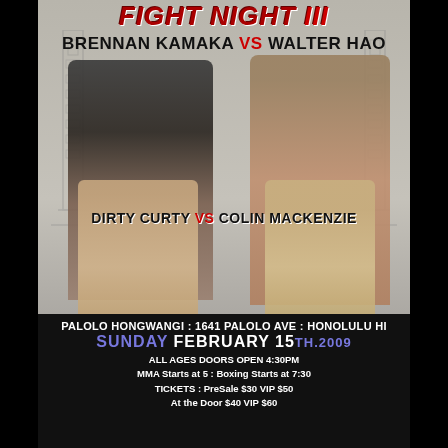FIGHT NIGHT III
BRENNAN KAMAKA VS WALTER HAO
[Figure (photo): Four MMA/boxing fighters in fighting stances: top left man in black shirt, top right shirtless man, bottom left shirtless man, bottom right shirtless man, with decorative building sketches in background]
DIRTY CURTY VS COLIN MACKENZIE
PALOLO HONGWANGI : 1641 Palolo Ave : Honolulu HI
SUNDAY FEBRUARY 15TH.2009
ALL AGES DOORS OPEN 4:30PM
MMA Starts at 5 : Boxing Starts at 7:30
TICKETS : PreSale $30 VIP $50
At the Door $40 VIP $60